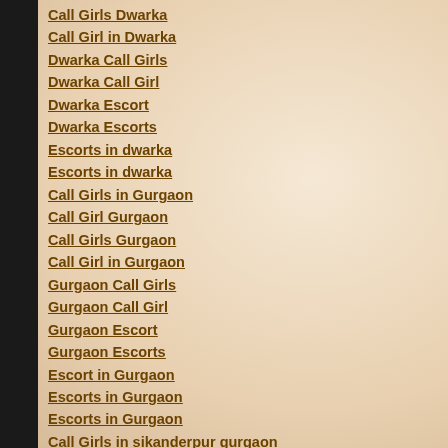Call Girls Dwarka
Call Girl in Dwarka
Dwarka Call Girls
Dwarka Call Girl
Dwarka Escort
Dwarka Escorts
Escorts in dwarka
Escorts in dwarka
Call Girls in Gurgaon
Call Girl Gurgaon
Call Girls Gurgaon
Call Girl in Gurgaon
Gurgaon Call Girls
Gurgaon Call Girl
Gurgaon Escort
Gurgaon Escorts
Escort in Gurgaon
Escorts in Gurgaon
Escorts in Gurgaon
Call Girls in sikanderpur gurgaon
Call Girls in sohna road gurgaon
Call Girls in mg road gurgaon
Call Girls in iffco chowk gurgaon
Call Girls in Haridwar
Call Girls in sushant lok
Call Girls in Gurgaon
Call Girls in Dehra...